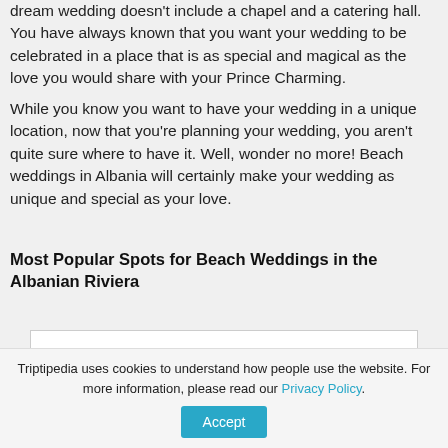dream wedding doesn't include a chapel and a catering hall. You have always known that you want your wedding to be celebrated in a place that is as special and magical as the love you would share with your Prince Charming. While you know you want to have your wedding in a unique location, now that you're planning your wedding, you aren't quite sure where to have it. Well, wonder no more! Beach weddings in Albania will certainly make your wedding as unique and special as your love.
Most Popular Spots for Beach Weddings in the Albanian Riviera
Contents
Triptipedia uses cookies to understand how people use the website. For more information, please read our Privacy Policy. Accept